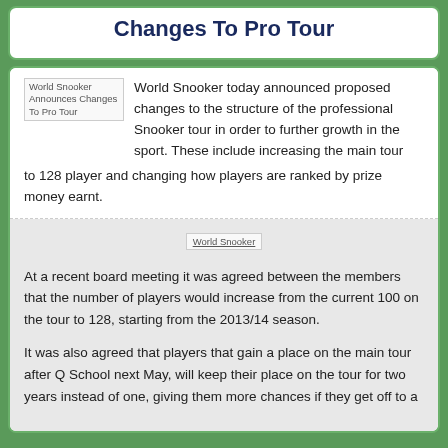Changes To Pro Tour
[Figure (illustration): Broken/placeholder image labeled 'World Snooker Announces Changes To Pro Tour']
World Snooker today announced proposed changes to the structure of the professional Snooker tour in order to further growth in the sport. These include increasing the main tour to 128 player and changing how players are ranked by prize money earnt.
[Figure (illustration): Broken/placeholder image labeled 'World Snooker']
At a recent board meeting it was agreed between the members that the number of players would increase from the current 100 on the tour to 128, starting from the 2013/14 season.
It was also agreed that players that gain a place on the main tour after Q School next May, will keep their place on the tour for two years instead of one, giving them more chances if they get off to a